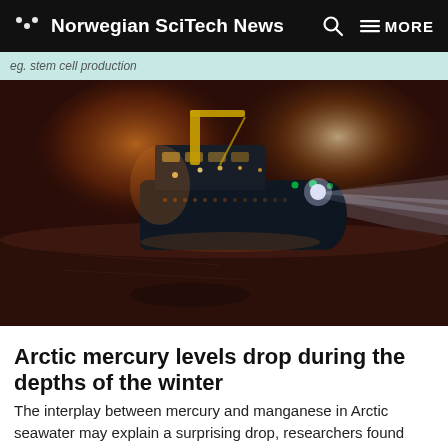Norwegian SciTech News   MORE
eg. stem cell production
[Figure (photo): An icebreaker or research vessel at night in Arctic ice, with bright searchlights illuminating the frozen landscape. The ship is large with dark hull, cranes and lights visible, projecting powerful beams across the ice field under a dark reddish-brown sky.]
Arctic mercury levels drop during the depths of the winter
The interplay between mercury and manganese in Arctic seawater may explain a surprising drop, researchers found